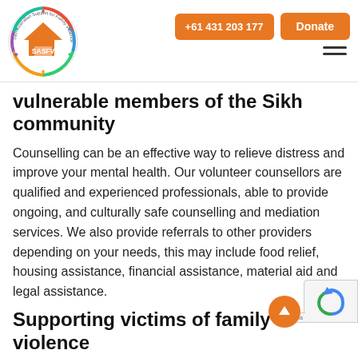[Figure (logo): SASFV - Sikh Australian Support for Family Violence circular logo with orange house icon]
+61 431 203 177
Donate
vulnerable members of the Sikh community
Counselling can be an effective way to relieve distress and improve your mental health. Our volunteer counsellors are qualified and experienced professionals, able to provide ongoing, and culturally safe counselling and mediation services. We also provide referrals to other providers depending on your needs, this may include food relief, housing assistance, financial assistance, material aid and legal assistance.
Supporting victims of family violence